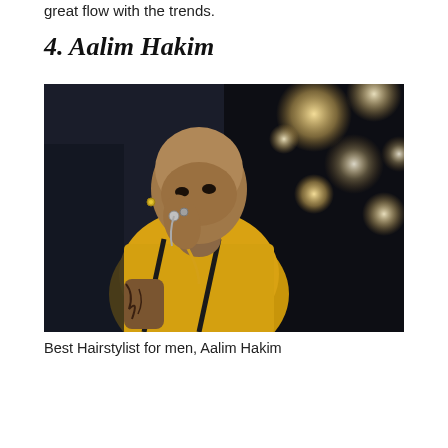great flow with the trends.
4. Aalim Hakim
[Figure (photo): Portrait photo of Aalim Hakim, a bald man wearing a yellow shirt with suspenders, holding his hand to his face adorned with rings and chains, against a dark studio background with bokeh light circles.]
Best Hairstylist for men, Aalim Hakim